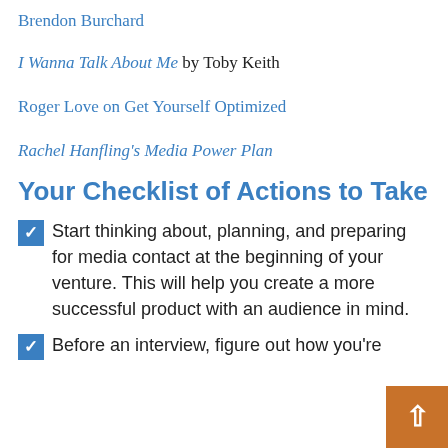Brendon Burchard
I Wanna Talk About Me by Toby Keith
Roger Love on Get Yourself Optimized
Rachel Hanfling's Media Power Plan
Your Checklist of Actions to Take
✅ Start thinking about, planning, and preparing for media contact at the beginning of your venture. This will help you create a more successful product with an audience in mind.
✅ Before an interview, figure out how you're